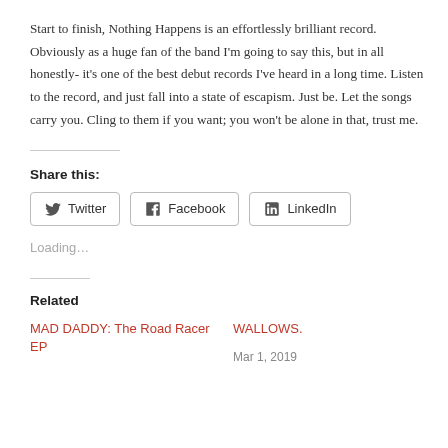Start to finish, Nothing Happens is an effortlessly brilliant record. Obviously as a huge fan of the band I'm going to say this, but in all honestly- it's one of the best debut records I've heard in a long time. Listen to the record, and just fall into a state of escapism. Just be. Let the songs carry you. Cling to them if you want; you won't be alone in that, trust me.
Share this:
Twitter Facebook LinkedIn
Loading...
Related
MAD DADDY: The Road Racer EP
WALLOWS.
Mar 1, 2019